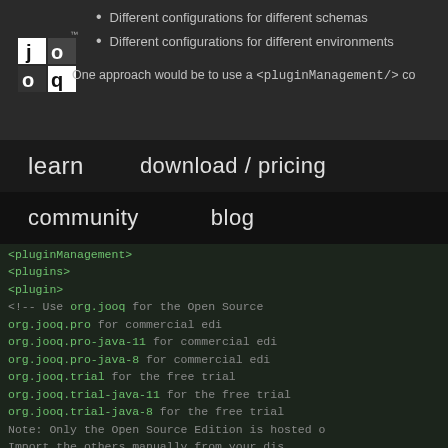[Figure (logo): jOOQ logo - white squares with 'jq' text]
Different configurations for different schemas
Different configurations for different environments
One approach would be to use a <pluginManagement/> co...
learn    download / pricing
community    blog
<pluginManagement>
  <plugins>
    <plugin>
      <!-- Use org.jooq        for the Open Source...
           org.jooq.pro          for commercial edi...
           org.jooq.pro-java-11  for commercial edi...
           org.jooq.pro-java-8   for commercial edi...
           org.jooq.trial        for the free trial...
           org.jooq.trial-java-11 for the free trial...
           org.jooq.trial-java-8  for the free trial...
      Note: Only the Open Source Edition is hosted o...
           Import the others manually from your dis...
      <groupId>org.jooq</groupId>
      <artifactId>jooq-codegen-maven</artifactId>
      <configuration>
      <!-- log at WARN level by default...